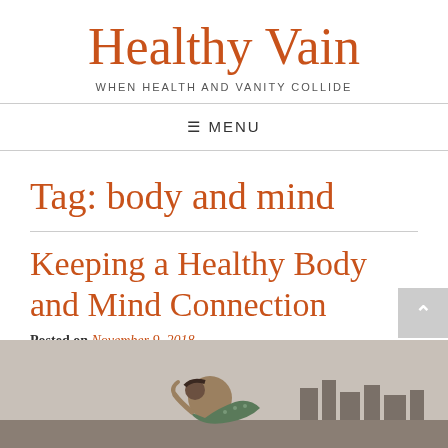Healthy Vain
WHEN HEALTH AND VANITY COLLIDE
≡ MENU
Tag: body and mind
Keeping a Healthy Body and Mind Connection
Posted on November 9, 2018
[Figure (photo): Person in yoga/stretching pose outdoors with city skyline in background]